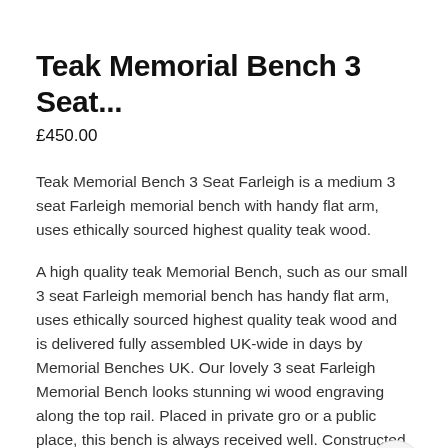Teak Memorial Bench 3 Seat...
£450.00
Teak Memorial Bench 3 Seat Farleigh is a medium 3 seat Farleigh memorial bench with handy flat arm, uses ethically sourced highest quality teak wood.
A high quality teak Memorial Bench, such as our small 3 seat Farleigh memorial bench has handy flat arm, uses ethically sourced highest quality teak wood and is delivered fully assembled UK-wide in days by Memorial Benches UK. Our lovely 3 seat Farleigh Memorial Bench looks stunning wi wood engraving along the top rail. Placed in private gro or a public place, this bench is always received well. Constructed from solid Teak with a heavy 6cm x 6cm frame